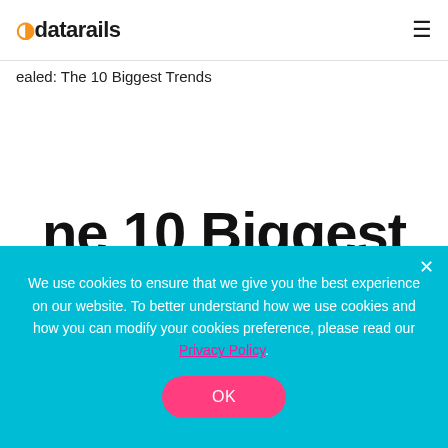datarails
ealed: The 10 Biggest Trends
ne 10 Biggest
ncting FP&A in
We use cookies to ensure that we give you the best experience on our website. To better understand how we use cookies and how you can modify your cookies preference, please read our Privacy Policy.